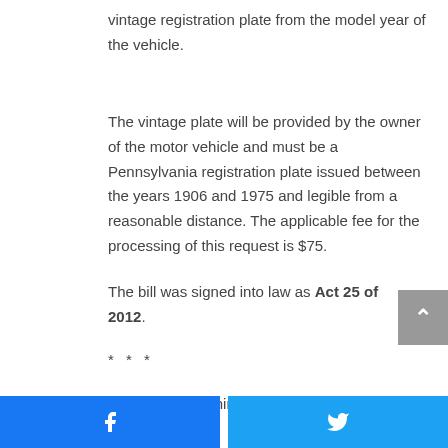vintage registration plate from the model year of the vehicle.
The vintage plate will be provided by the owner of the motor vehicle and must be a Pennsylvania registration plate issued between the years 1906 and 1975 and legible from a reasonable distance. The applicable fee for the processing of this request is $75.
The bill was signed into law as Act 25 of 2012.
* * *
The Senate unanimously approved Senate Bill 86,